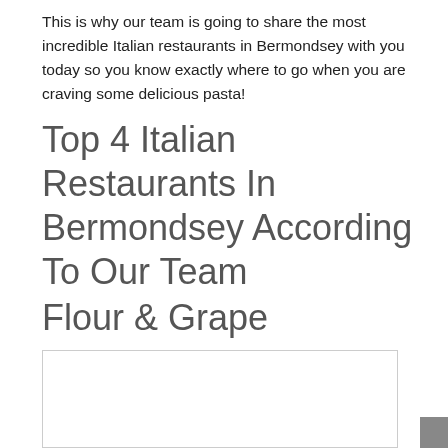This is why our team is going to share the most incredible Italian restaurants in Bermondsey with you today so you know exactly where to go when you are craving some delicious pasta!
Top 4 Italian Restaurants In Bermondsey According To Our Team
Flour & Grape
[Figure (photo): Partially visible image placeholder with white background and light border, representing a restaurant photo]